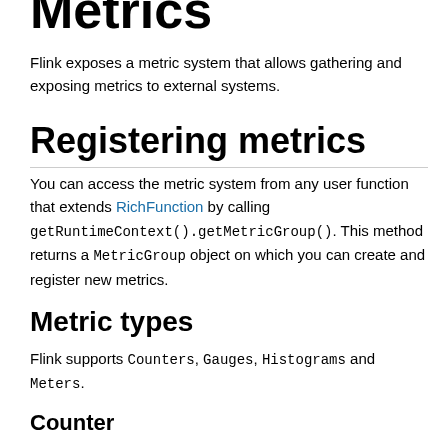Metrics
Flink exposes a metric system that allows gathering and exposing metrics to external systems.
Registering metrics
You can access the metric system from any user function that extends RichFunction by calling getRuntimeContext().getMetricGroup(). This method returns a MetricGroup object on which you can create and register new metrics.
Metric types
Flink supports Counters, Gauges, Histograms and Meters.
Counter
A Counter is used to count something. The current value can be in- or decremented using inc()/inc(long n) or dec()/dec(long n). You can create and register a Counter